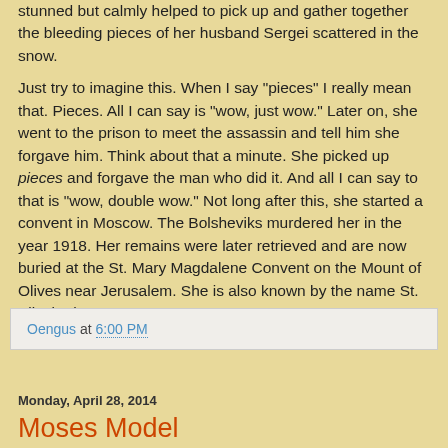stunned but calmly helped to pick up and gather together the bleeding pieces of her husband Sergei scattered in the snow.

Just try to imagine this. When I say "pieces" I really mean that. Pieces. All I can say is "wow, just wow." Later on, she went to the prison to meet the assassin and tell him she forgave him. Think about that a minute. She picked up pieces and forgave the man who did it. And all I can say to that is "wow, double wow." Not long after this, she started a convent in Moscow. The Bolsheviks murdered her in the year 1918. Her remains were later retrieved and are now buried at the St. Mary Magdalene Convent on the Mount of Olives near Jerusalem. She is also known by the name St. Elizabeth Romanova.
Oengus at 6:00 PM
Monday, April 28, 2014
Moses Model